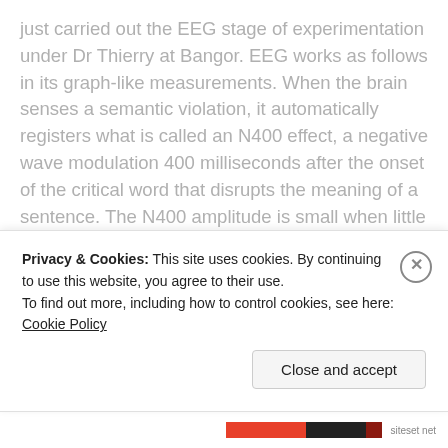just carried out the EEG stage of experimentation under Dr Thierry at Bangor. EEG works as follows in its graph-like measurements. When the brain senses a semantic violation, it automatically registers what is called an N400 effect, a negative wave modulation 400 milliseconds after the onset of the critical word that disrupts the meaning of a sentence. The N400 amplitude is small when little semantic integration effort is needed (e.g., to integrate the word “eat” in the sentence, “The pizza was too hot to eat”), and large when the critical word is unexpected and therefore difficult to integrate (e.g., “The pizza was too hot
Privacy & Cookies: This site uses cookies. By continuing to use this website, you agree to their use.
To find out more, including how to control cookies, see here: Cookie Policy
Close and accept